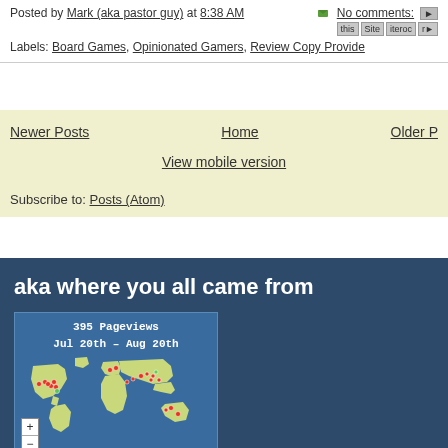Posted by Mark (aka pastor guy) at 8:38 AM   No comments:
Labels: Board Games, Opinionated Gamers, Review Copy Provide...
Newer Posts   Home   Older P...
View mobile version
Subscribe to: Posts (Atom)
aka where you all came from
[Figure (map): World map widget showing 395 Pageviews from Jul 20th - Aug 20th with red dot markers indicating visitor locations across North America, Europe, and Asia/Australia. Zoom controls (+/-) on bottom left.]